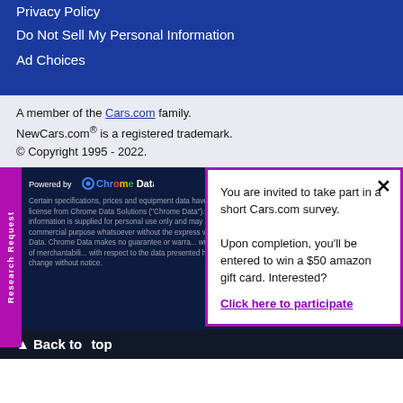Privacy Policy
Do Not Sell My Personal Information
Ad Choices
A member of the Cars.com family.
NewCars.com® is a registered trademark.
© Copyright 1995 - 2022.
[Figure (logo): Chrome Data logo with colorful circle icon]
Certain specifications, prices and equipment data have been provided under license from Chrome Data Solutions ("Chrome Data").© Reserved. This information is supplied for personal use only and may not be used for any commercial purpose whatsoever without the express written consent of Chrome Data. Chrome Data makes no guarantee or warranty, either expressed or implied, including without limitation any warranty of merchantability or fitness for particular purpose, with respect to the data presented here. All specifications and prices are subject to change without notice.
Research Request
You are invited to take part in a short Cars.com survey.

Upon completion, you'll be entered to win a $50 amazon gift card. Interested?
Click here to participate
▲ Back to top